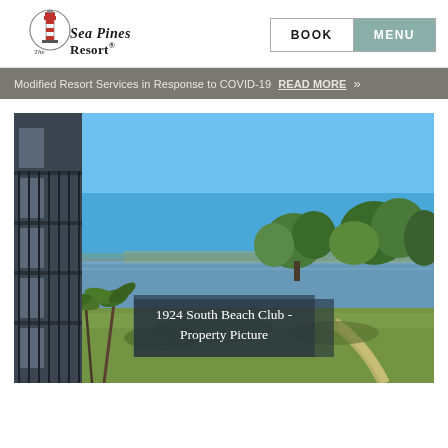The Sea Pines Resort | BOOK | MENU
Modified Resort Services in Response to COVID-19 READ MORE »
[Figure (photo): Aerial/elevated outdoor photo of 1924 South Beach Club property at The Sea Pines Resort, showing a waterfront view with blue sky, water, trees, green lawn, sandy pathway, and the side of a multi-story building with balconies on the left. Text overlay reads '1924 South Beach Club - Property Picture'.]
1924 South Beach Club - Property Picture